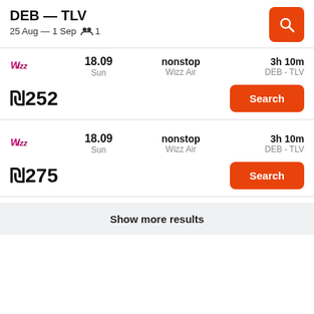DEB — TLV
25 Aug — 1 Sep   👥 1
18.09 Sun | nonstop Wizz Air | 3h 10m DEB - TLV | ₪252 | Search
18.09 Sun | nonstop Wizz Air | 3h 10m DEB - TLV | ₪275 | Search
Show more results